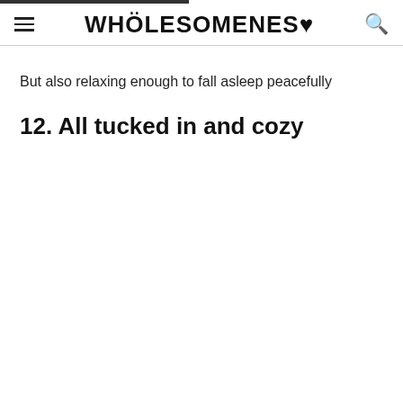WHOLESOMENESS
But also relaxing enough to fall asleep peacefully
12. All tucked in and cozy